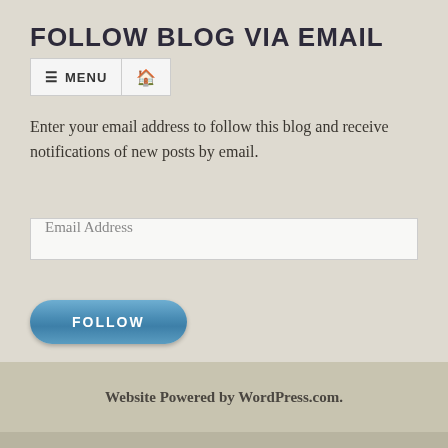FOLLOW BLOG VIA EMAIL
[Figure (screenshot): Navigation menu bar with hamburger icon, MENU text, and home icon button]
Enter your email address to follow this blog and receive notifications of new posts by email.
[Figure (other): Email address input field with placeholder text 'Email Address']
[Figure (other): Blue FOLLOW button with rounded pill shape]
Website Powered by WordPress.com.